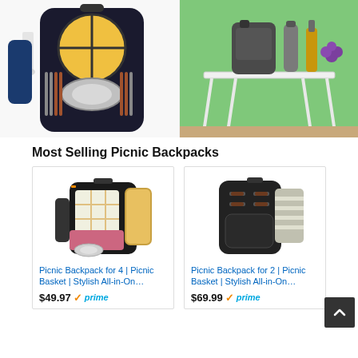[Figure (photo): Open picnic backpack showing cutlery, plates, wine glasses and yellow/black design]
[Figure (photo): Dark picnic backpack set next to a white folding table outdoors on grass with wine bottle and grapes]
Most Selling Picnic Backpacks
[Figure (photo): Picnic Backpack for 4 product image - black backpack with plaid blanket and utensils]
Picnic Backpack for 4 | Picnic Basket | Stylish All-in-On…
$49.97 ✓prime
[Figure (photo): Picnic Backpack for 2 product image - black leather-look backpack with striped blanket]
Picnic Backpack for 2 | Picnic Basket | Stylish All-in-On…
$69.99 ✓prime